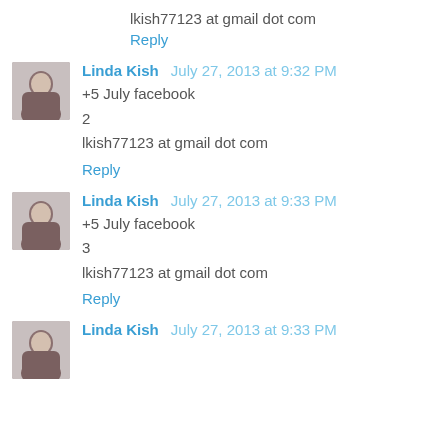lkish77123 at gmail dot com
Reply
Linda Kish  July 27, 2013 at 9:32 PM
+5 July facebook
2
lkish77123 at gmail dot com
Reply
Linda Kish  July 27, 2013 at 9:33 PM
+5 July facebook
3
lkish77123 at gmail dot com
Reply
Linda Kish  July 27, 2013 at 9:33 PM